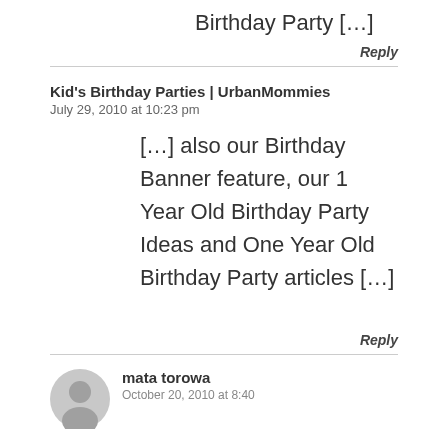Birthday Party […]
Reply
Kid's Birthday Parties | UrbanMommies
July 29, 2010 at 10:23 pm
[…] also our Birthday Banner feature, our 1 Year Old Birthday Party Ideas and One Year Old Birthday Party articles […]
Reply
mata torowa